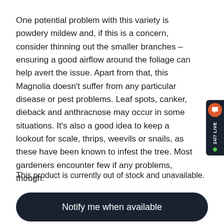One potential problem with this variety is powdery mildew and, if this is a concern, consider thinning out the smaller branches – ensuring a good airflow around the foliage can help avert the issue. Apart from that, this Magnolia doesn't suffer from any particular disease or pest problems. Leaf spots, canker, dieback and anthracnose may occur in some situations. It's also a good idea to keep a lookout for scale, thrips, weevils or snails, as these have been known to infest the tree. Most gardeners encounter few if any problems, though.
This product is currently out of stock and unavailable.
Notify me when available